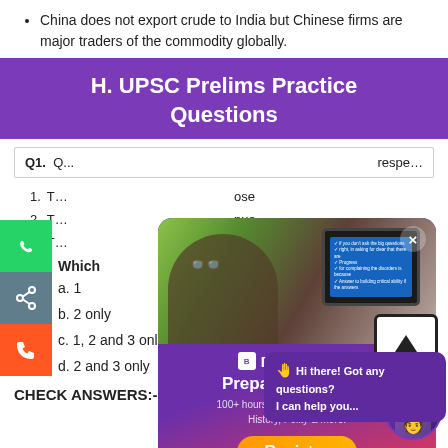China does not export crude to India but Chinese firms are major traders of the commodity globally.
H. UPSC Prelims Practice Questions
| Q1. |
| --- |
| ...respec |
1. T... ...ose p...
2. T... ...nue l...
3. T... ...p...
Which
a. 1
b. 2 only
c. 1, 2 and 3 only
d. 2 and 3 only
CHECK ANSWERS:-
[Figure (screenshot): BYJU'S IAS popup ad overlay showing a student using a tablet, with text 'Preparing for IAS? 100+ hours of Free Prep Material on History, Polity & more!' and a Register button]